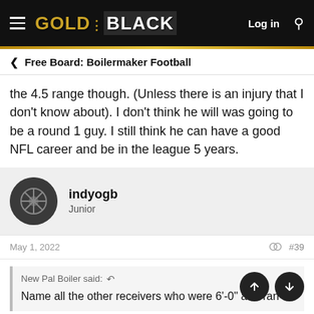GOLD & BLACK | Log in
< Free Board: Boilermaker Football
the 4.5 range though. (Unless there is an injury that I don't know about). I don't think he will was going to be a round 1 guy. I still think he can have a good NFL career and be in the league 5 years.
indyogb
Junior
May 1, 2022   #39
New Pal Boiler said: ↺
Name all the other receivers who were 6'-0" and ran